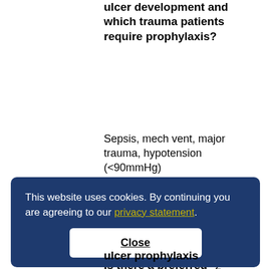ulcer development and which trauma patients require prophylaxis?
Sepsis, mech vent, major trauma, hypotension (<90mmHg)
Is there a preferred agent for stress ulcer prophylaxis? If so,
2
This website uses cookies. By continuing you are agreeing to our privacy statement.
Close
ulcer prophylaxis